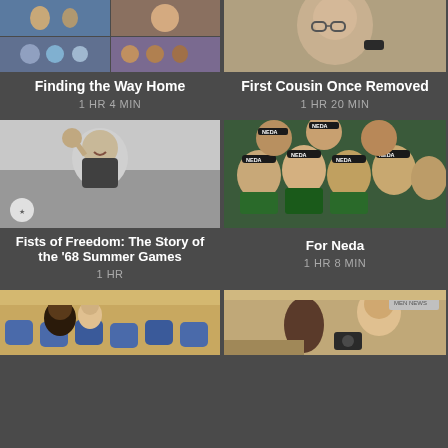[Figure (photo): Collage of 4 photos: woman in blue coat outdoors, children in winter gear, food/dish closeup, group of teens]
[Figure (photo): Elderly man reading or holding something, close-up portrait]
Finding the Way Home
1 HR 4 MIN
First Cousin Once Removed
1 HR 20 MIN
[Figure (photo): Black and white photo of athlete (man) raising fist at track event, smiling]
[Figure (photo): Color photo of crowd of young women wearing NEDA headbands, green and black]
Fists of Freedom: The Story of the '68 Summer Games
1 HR
For Neda
1 HR 8 MIN
[Figure (photo): Woman leaning on someone in courtroom or auditorium seating with blue chairs]
[Figure (photo): Woman from behind and man smiling, appears to be at event, man holding camera]